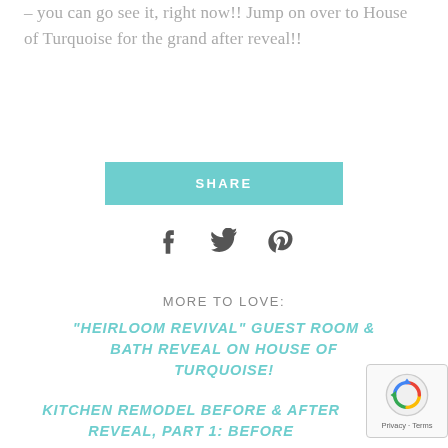– you can go see it, right now!! Jump on over to House of Turquoise for the grand after reveal!!
SHARE
[Figure (infographic): Social sharing icons: Facebook, Twitter, Pinterest]
MORE TO LOVE:
"HEIRLOOM REVIVAL" GUEST ROOM & BATH REVEAL ON HOUSE OF TURQUOISE!
KITCHEN REMODEL BEFORE & AFTER REVEAL, PART 1: BEFORE